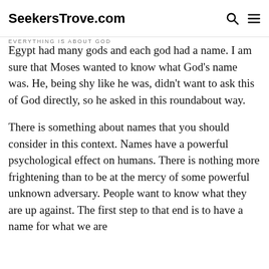SeekersTrove.com | Everything is About God
Egypt had many gods and each god had a name. I am sure that Moses wanted to know what God’s name was. He, being shy like he was, didn’t want to ask this of God directly, so he asked in this roundabout way.
There is something about names that you should consider in this context. Names have a powerful psychological effect on humans. There is nothing more frightening than to be at the mercy of some powerful unknown adversary. People want to know what they are up against. The first step to that end is to have a name for what we are